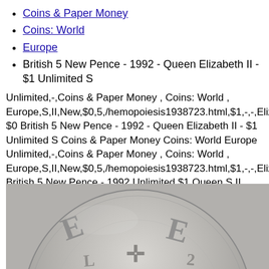Coins & Paper Money
Coins: World
Europe
British 5 New Pence - 1992 - Queen Elizabeth II - $1 Unlimited S
Unlimited,-,Coins & Paper Money , Coins: World , Europe,S,II,New,$0,5,/hemopoiesis1938723.html,$1,-,-,Elizabeth,mi $0 British 5 New Pence - 1992 - Queen Elizabeth II - $1 Unlimited S Coins & Paper Money Coins: World Europe Unlimited,-,Coins & Paper Money , Coins: World , Europe,S,II,New,$0,5,/hemopoiesis1938723.html,$1,-,-,Elizabeth,mi British 5 New Pence - 1992 Unlimited $1 Queen S II Elizabeth sale British 5 New Pence - 1992 Unlimited $1 Queen S II Elizabeth sale $0 British 5 New Pence - 1992 - Queen Elizabeth II - $1 Unlimited S Coins & Paper Money Coins: World Europe
[Figure (photo): Close-up photo of the reverse side of a British 5 New Pence coin from 1992, showing embossed lettering and heraldic design elements in silver/gray tone]